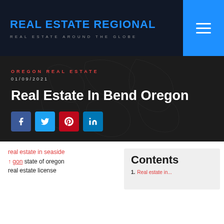REAL ESTATE REGIONAL — REAL ESTATE AROUND THE GLOBE
OREGON REAL ESTATE
01/09/2021
Real Estate In Bend Oregon
real estate in seaside
orton state of oregon
real estate license
Contents